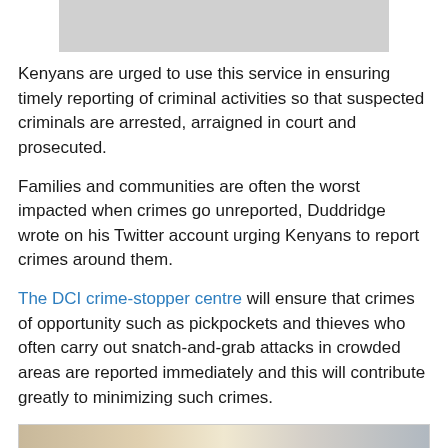[Figure (photo): Gray/light colored image at top of page, partially visible]
Kenyans are urged to use this service in ensuring timely reporting of criminal activities so that suspected criminals are arrested, arraigned in court and prosecuted.
Families and communities are often the worst impacted when crimes go unreported, Duddridge wrote on his Twitter account urging Kenyans to report crimes around them.
The DCI crime-stopper centre will ensure that crimes of opportunity such as pickpockets and thieves who often carry out snatch-and-grab attacks in crowded areas are reported immediately and this will contribute greatly to minimizing such crimes.
[Figure (photo): Photo at bottom of page showing an indoor scene, partially visible]